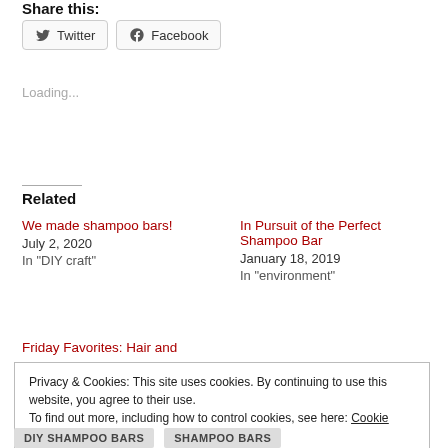Share this:
Twitter   Facebook
Loading...
Related
We made shampoo bars!
July 2, 2020
In "DIY craft"
In Pursuit of the Perfect Shampoo Bar
January 18, 2019
In "environment"
Friday Favorites: Hair and
Privacy & Cookies: This site uses cookies. By continuing to use this website, you agree to their use.
To find out more, including how to control cookies, see here: Cookie Policy
Close and accept
DIY SHAMPOO BARS   SHAMPOO BARS